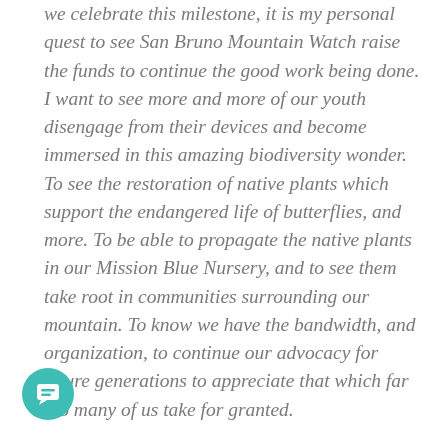we celebrate this milestone, it is my personal quest to see San Bruno Mountain Watch raise the funds to continue the good work being done. I want to see more and more of our youth disengage from their devices and become immersed in this amazing biodiversity wonder. To see the restoration of native plants which support the endangered life of butterflies, and more. To be able to propagate the native plants in our Mission Blue Nursery, and to see them take root in communities surrounding our mountain. To know we have the bandwidth, and organization, to continue our advocacy for future generations to appreciate that which far too many of us take for granted.

...hat end, I invite you all to come play, learn, and explore with us at the multitude of events San Bruno
[Figure (other): Teal circular chat button with speech bubble icon in the bottom left corner]